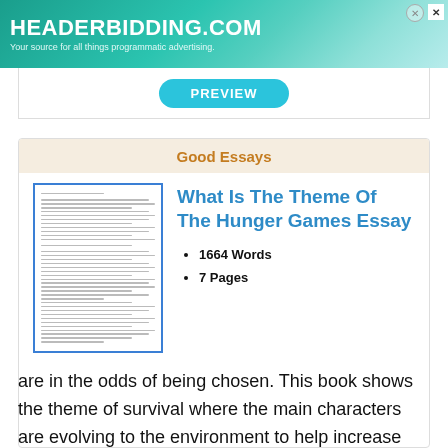[Figure (screenshot): HEADERBIDDING.COM advertisement banner: 'Your source for all things programmatic advertising.']
Good Essays
[Figure (illustration): Thumbnail preview of a printed essay document with blue border]
What Is The Theme Of The Hunger Games Essay
1664 Words
7 Pages
are in the odds of being chosen. This book shows the theme of survival where the main characters are evolving to the environment to help increase their ability to survive. Suzanne Collins shows how one girl from the poor district does